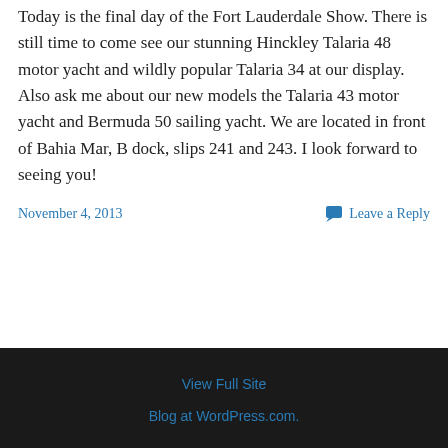Today is the final day of the Fort Lauderdale Show. There is still time to come see our stunning Hinckley Talaria 48 motor yacht and wildly popular Talaria 34 at our display. Also ask me about our new models the Talaria 43 motor yacht and Bermuda 50 sailing yacht. We are located in front of Bahia Mar, B dock, slips 241 and 243. I look forward to seeing you!
November 4, 2013
Leave a Reply
View Full Site
Blog at WordPress.com.